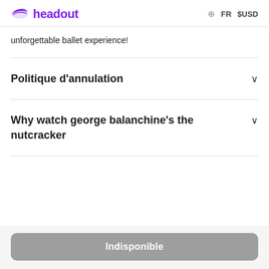headout   FR   $USD
unforgettable ballet experience!
Politique d'annulation
Why watch george balanchine's the nutcracker
Indisponible